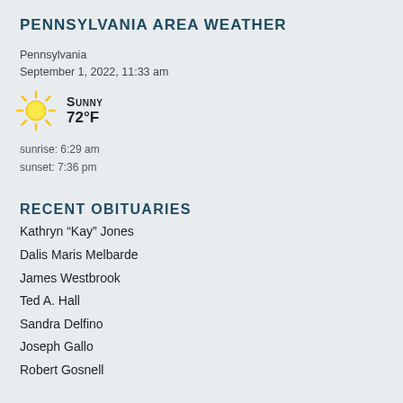PENNSYLVANIA AREA WEATHER
Pennsylvania
September 1, 2022, 11:33 am
[Figure (infographic): Sun icon with weather condition: Sunny, 72°F]
sunrise: 6:29 am
sunset: 7:36 pm
RECENT OBITUARIES
Kathryn “Kay” Jones
Dalis Maris Melbarde
James Westbrook
Ted A. Hall
Sandra Delfino
Joseph Gallo
Robert Gosnell